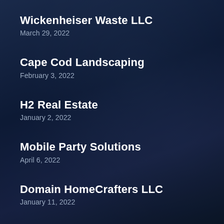Wickenheiser Waste LLC
March 29, 2022
Cape Cod Landscaping
February 3, 2022
H2 Real Estate
January 2, 2022
Mobile Party Solutions
April 6, 2022
Domain HomeCrafters LLC
January 11, 2022